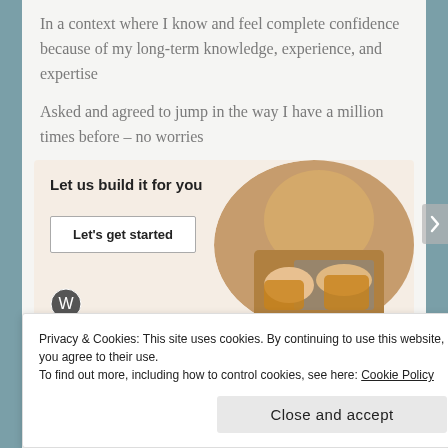In a context where I know and feel complete confidence because of my long-term knowledge, experience, and expertise
Asked and agreed to jump in the way I have a million times before – no worries
[Figure (infographic): Ad banner with beige background saying 'Let us build it for you' with a 'Let's get started' button and a photo of hands typing on a laptop]
Privacy & Cookies: This site uses cookies. By continuing to use this website, you agree to their use.
To find out more, including how to control cookies, see here: Cookie Policy